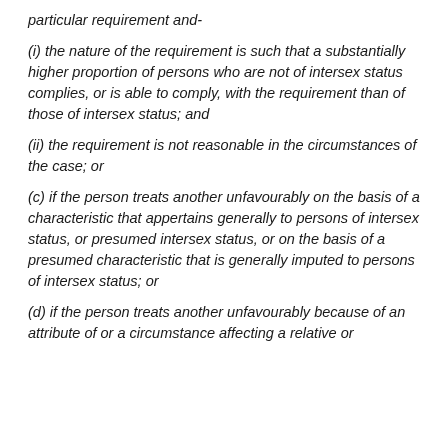particular requirement and-
(i) the nature of the requirement is such that a substantially higher proportion of persons who are not of intersex status complies, or is able to comply, with the requirement than of those of intersex status; and
(ii) the requirement is not reasonable in the circumstances of the case; or
(c) if the person treats another unfavourably on the basis of a characteristic that appertains generally to persons of intersex status, or presumed intersex status, or on the basis of a presumed characteristic that is generally imputed to persons of intersex status; or
(d) if the person treats another unfavourably because of an attribute of or a circumstance affecting a relative or